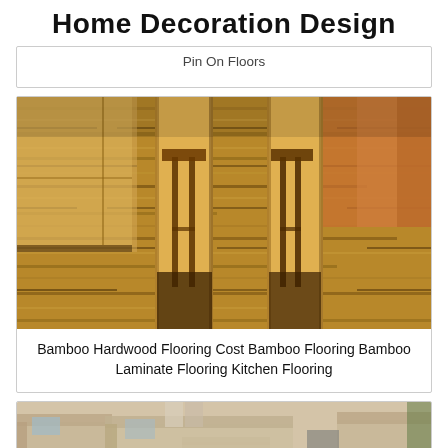Home Decoration Design
Pin On Floors
[Figure (photo): Bamboo hardwood flooring in a kitchen/dining area with bar stools and wooden columns, showing striped natural bamboo pattern on the floor]
Bamboo Hardwood Flooring Cost Bamboo Flooring Bamboo Laminate Flooring Kitchen Flooring
[Figure (photo): Living room interior with beige/tan sofas and armchairs on light hardwood flooring]